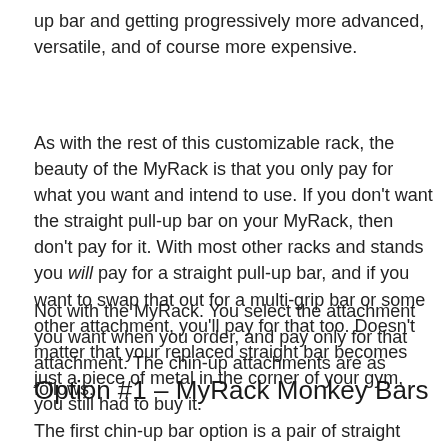up bar and getting progressively more advanced, versatile, and of course more expensive.
As with the rest of this customizable rack, the beauty of the MyRack is that you only pay for what you want and intend to use. If you don't want the straight pull-up bar on your MyRack, then don't pay for it. With most other racks and stands you will pay for a straight pull-up bar, and if you want to swap that out for a multi-grip bar or some other attachment, you'll pay for that too. Doesn't matter that your replaced straight bar becomes just a piece of metal in the corner of your gym, you still had to buy it.
Not with the MyRack. You select the attachment you want when you order, and pay only for that attachment. The chin-up attachments are as follows:
Option #1 – MyRack Monkey Bars
The first chin-up bar option is a pair of straight pull-up bars: one